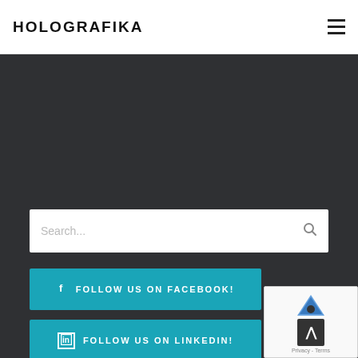HOLOGRAFIKA
[Figure (screenshot): Dark gray background area representing website content region]
Search...
FOLLOW US ON FACEBOOK!
FOLLOW US ON LINKEDIN!
[Figure (other): reCAPTCHA badge with scroll-to-top button overlay, showing Privacy and Terms text]